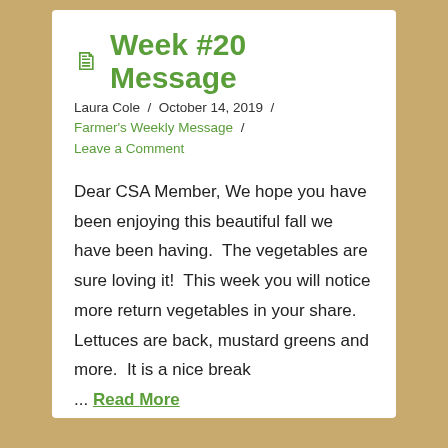Week #20 Message
Laura Cole / October 14, 2019 / Farmer's Weekly Message / Leave a Comment
Dear CSA Member, We hope you have been enjoying this beautiful fall we have been having.  The vegetables are sure loving it!  This week you will notice more return vegetables in your share.  Lettuces are back, mustard greens and more.  It is a nice break ... Read More